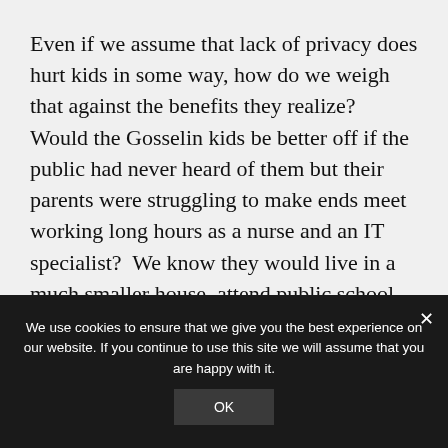Even if we assume that lack of privacy does hurt kids in some way, how do we weigh that against the benefits they realize? Would the Gosselin kids be better off if the public had never heard of them but their parents were struggling to make ends meet working long hours as a nurse and an IT specialist?  We know they would live in a much smaller house, attend public school, and go on few, if any, vacations.   All of us have to make trade offs in raising our kids—and there seems to be a
We use cookies to ensure that we give you the best experience on our website. If you continue to use this site we will assume that you are happy with it.
OK